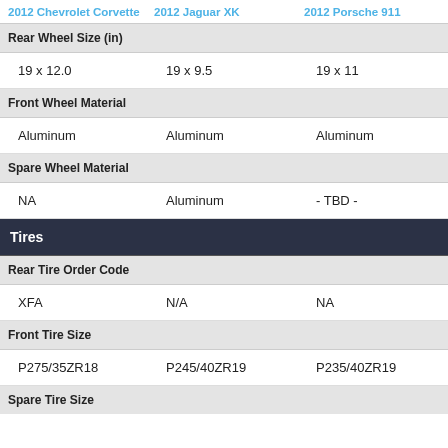| 2012 Chevrolet Corvette | 2012 Jaguar XK | 2012 Porsche 911 |
| --- | --- | --- |
| Rear Wheel Size (in) |  |  |
| 19 x 12.0 | 19 x 9.5 | 19 x 11 |
| Front Wheel Material |  |  |
| Aluminum | Aluminum | Aluminum |
| Spare Wheel Material |  |  |
| NA | Aluminum | - TBD - |
| Tires |  |  |
| Rear Tire Order Code |  |  |
| XFA | N/A | NA |
| Front Tire Size |  |  |
| P275/35ZR18 | P245/40ZR19 | P235/40ZR19 |
| Spare Tire Size |  |  |